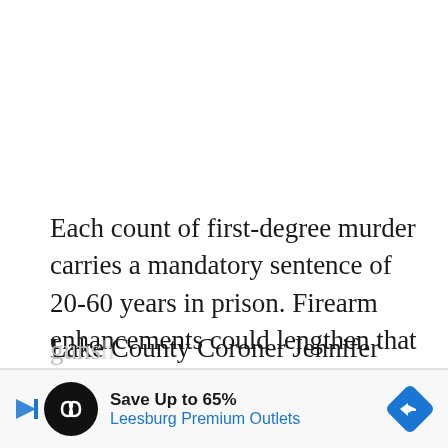Each count of first-degree murder carries a mandatory sentence of 20-60 years in prison. Firearm enhancements could lengthen that term.
Lake County Coroner Jennifer Banek said that Melanie Yates, 23, of Zion, died as a result of a gunshot
[Figure (other): Advertisement banner: Save Up to 65% Leesburg Premium Outlets with logo and navigation arrow icon]